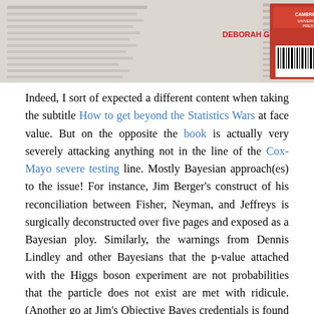[Figure (photo): Book cover image of 'Statistical Inference as Severe Testing: How to Get Beyond the Statistics Wars' by Deborah G. Mayo, published by Cambridge University Press. The cover shows the book spine and front cover with red Cambridge University Press branding and the author name 'DEBORAH G. MAYO' visible.]
Indeed, I sort of expected a different content when taking the subtitle How to get beyond the Statistics Wars at face value. But on the opposite the book is actually very severely attacking anything not in the line of the Cox-Mayo severe testing line. Mostly Bayesian approach(es) to the issue! For instance, Jim Berger's construct of his reconciliation between Fisher, Neyman, and Jeffreys is surgically deconstructed over five pages and exposed as a Bayesian ploy. Similarly, the warnings from Dennis Lindley and other Bayesians that the p-value attached with the Higgs boson experiment are not probabilities that the particle does not exist are met with ridicule. (Another go at Jim's Objective Bayes credentials is found in the squared